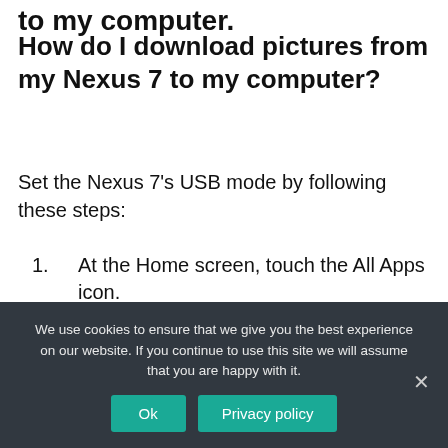to my computer?
How do I download pictures from my Nexus 7 to my computer?
Set the Nexus 7’s USB mode by following these steps:
1. At the Home screen, touch the All Apps icon.
2. Open the Settings app.
3. Choose Storage.
4. Touch the Menu icon and then choose
We use cookies to ensure that we give you the best experience on our website. If you continue to use this site we will assume that you are happy with it.